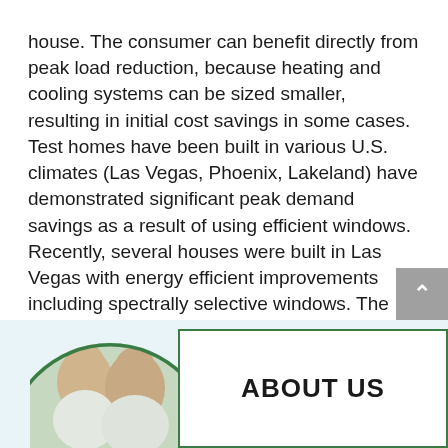house. The consumer can benefit directly from peak load reduction, because heating and cooling systems can be sized smaller, resulting in initial cost savings in some cases. Test homes have been built in various U.S. climates (Las Vegas, Phoenix, Lakeland) have demonstrated significant peak demand savings as a result of using efficient windows. Recently, several houses were built in Las Vegas with energy efficient improvements including spectrally selective windows. The total size of the air conditioning system was reduced by 30 percent.
[Figure (photo): Circular cropped photo of two men, partially visible at the bottom of the page in the footer area]
ABOUT US